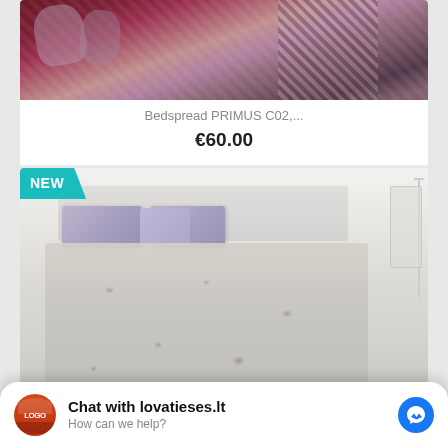[Figure (photo): Cropped top of a dark maroon/wine colored bedspread product image with ornate pattern]
Bedspread PRIMUS C02,...
€60.00
[Figure (photo): Bedroom scene showing a bed with a floral/mosaic patterned bedspread in light colors with purple pillows, labeled NEW]
Chat with lovatieses.lt
How can we help?
Bedspread Mesina 2 270x270 Cm